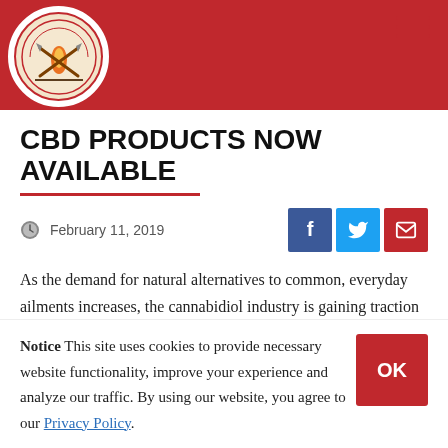CBD PRODUCTS NOW AVAILABLE - Government/Tribal website header with logo and hamburger menu
CBD PRODUCTS NOW AVAILABLE
February 11, 2019
As the demand for natural alternatives to common, everyday ailments increases, the cannabidiol industry is gaining traction amongst consumers for its variety of applications and health benefits. Researchers from Brightfield Group
Notice This site uses cookies to provide necessary website functionality, improve your experience and analyze our traffic. By using our website, you agree to our Privacy Policy.